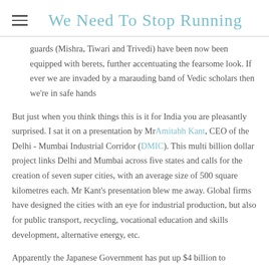We Need To Stop Running
guards (Mishra, Tiwari and Trivedi) have been now been equipped with berets, further accentuating the fearsome look. If ever we are invaded by a marauding band of Vedic scholars then we're in safe hands
But just when you think things this is it for India you are pleasantly surprised. I sat it on a presentation by MrAmitabh Kant, CEO of the Delhi - Mumbai Industrial Corridor (DMIC). This multi billion dollar project links Delhi and Mumbai across five states and calls for the creation of seven super cities, with an average size of 500 square kilometres each. Mr Kant's presentation blew me away. Global firms have designed the cities with an eye for industrial production, but also for public transport, recycling, vocational education and skills development, alternative energy, etc.
Apparently the Japanese Government has put up $4 billion to